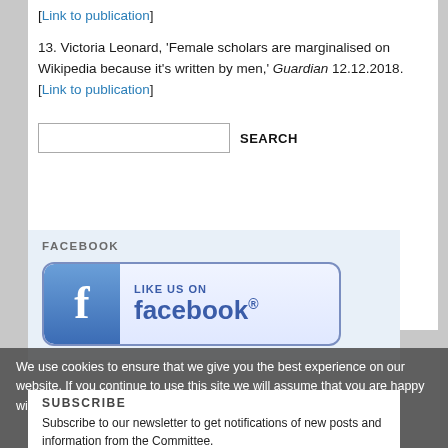[Link to publication]
13. Victoria Leonard, ‘Female scholars are marginalised on Wikipedia because it’s written by men,’ Guardian 12.12.2018. [Link to publication]
[Figure (other): Search input field with SEARCH button label]
FACEBOOK
[Figure (logo): Like us on Facebook button/logo with Facebook f icon on blue background and text LIKE US ON facebook.]
We use cookies to ensure that we give you the best experience on our website. If you continue to use this site we will assume that you are happy with it.
SUBSCRIBE
Subscribe to our newsletter to get notifications of new posts and information from the Committee.
Name